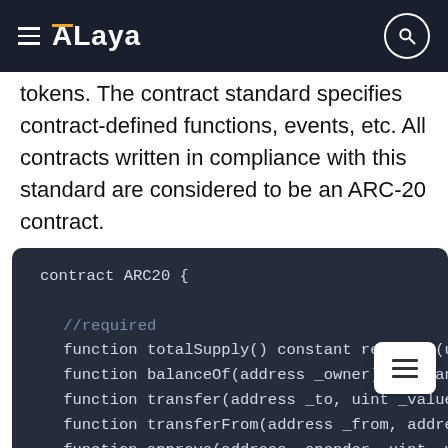ALaya
tokens. The contract standard specifies contract-defined functions, events, etc. All contracts written in compliance with this standard are considered to be an ARC-20 contract.
[Figure (screenshot): Code block showing ARC20 contract interface in Solidity-like syntax with functions: totalSupply(), balanceOf(address _owner), transfer(address _to, uint _value), transferFrom(address _from, address...), approve(address _spender, uint _va...), allowance(address _owner, address...) under //required comment, and function name() public view returns (string under //optional comment]